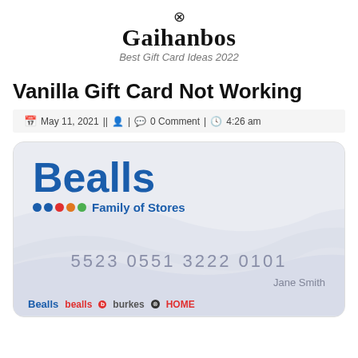Gaihanbos – Best Gift Card Ideas 2022
Vanilla Gift Card Not Working
May 11, 2021 || (user icon) | (comment icon) 0 Comment | (clock icon) 4:26 am
[Figure (photo): Bealls Family of Stores gift card showing card number 5523 0551 3222 0101 and cardholder name Jane Smith, with Bealls, bealls, burkes, and HOME logos at the bottom]